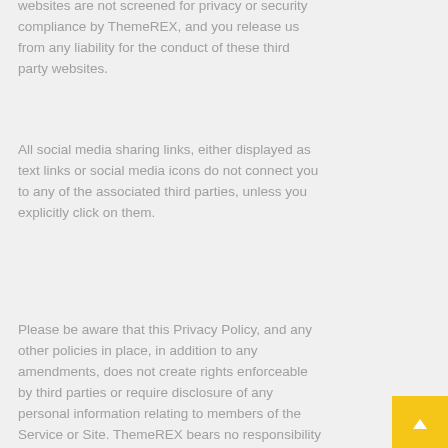websites are not screened for privacy or security compliance by ThemeREX, and you release us from any liability for the conduct of these third party websites.
All social media sharing links, either displayed as text links or social media icons do not connect you to any of the associated third parties, unless you explicitly click on them.
Please be aware that this Privacy Policy, and any other policies in place, in addition to any amendments, does not create rights enforceable by third parties or require disclosure of any personal information relating to members of the Service or Site. ThemeREX bears no responsibility for the information collected or used by any advertiser or third party website. Please review the privacy policy and terms of service for each site you visit through third party links.